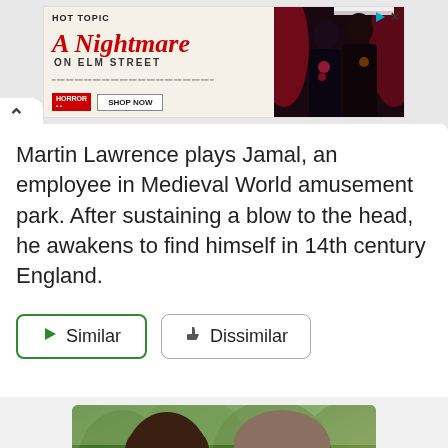[Figure (other): Hot Topic advertisement banner for A Nightmare on Elm Street merchandise with two people in dark clothing and a Shop Now button]
Martin Lawrence plays Jamal, an employee in Medieval World amusement park. After sustaining a blow to the head, he awakens to find himself in 14th century England.
[Figure (other): Similar button with green play triangle icon and Dissimilar button with thumbs down icon]
[Figure (photo): Photo of a woman and man looking forward, outdoors with green trees in background]